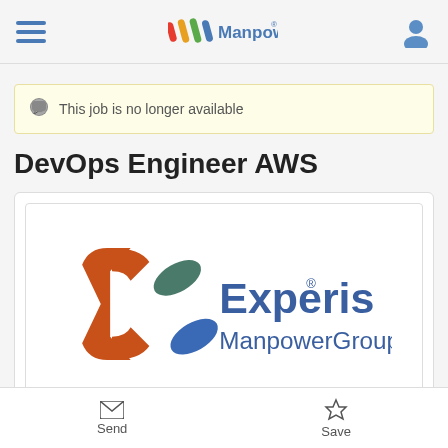Manpower
This job is no longer available
DevOps Engineer AWS
[Figure (logo): Experis ManpowerGroup logo with colorful X symbol made of orange, teal, and blue rounded shapes]
Send | Save